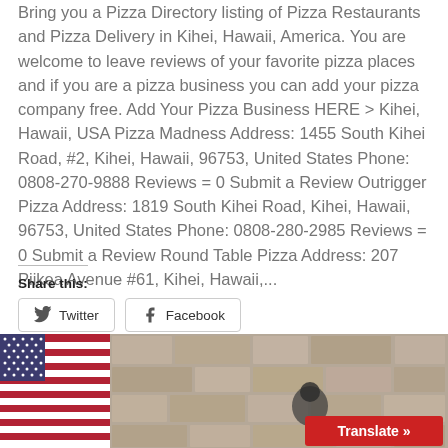Bring you a Pizza Directory listing of Pizza Restaurants and Pizza Delivery in Kihei, Hawaii, America. You are welcome to leave reviews of your favorite pizza places and if you are a pizza business you can add your pizza company free. Add Your Pizza Business HERE > Kihei, Hawaii, USA Pizza Madness Address: 1455 South Kihei Road, #2, Kihei, Hawaii, 96753, United States Phone: 0808-270-9888 Reviews = 0 Submit a Review Outrigger Pizza Address: 1819 South Kihei Road, Kihei, Hawaii, 96753, United States Phone: 0808-280-2985 Reviews = 0 Submit a Review Round Table Pizza Address: 207 Piikea Avenue #61, Kihei, Hawaii,...
Share this:
[Figure (screenshot): Social share buttons for Twitter and Facebook]
[Figure (photo): Bottom image showing a US flag on the left and a stone wall background with a person on a motorcycle, with a red Translate button overlay]